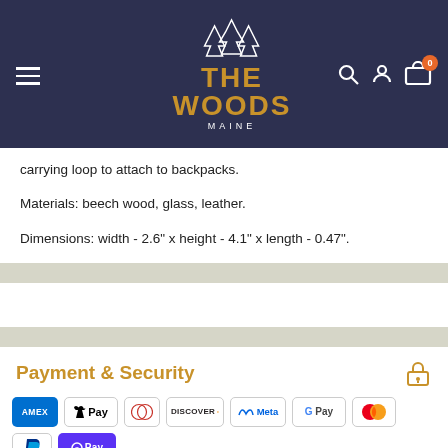[Figure (logo): The Woods Maine logo with pine trees in white and text in gold on dark navy header, with hamburger menu, search, account, and cart icons]
carrying loop to attach to backpacks.
Materials: beech wood, glass, leather.
Dimensions: width - 2.6" x height - 4.1" x length - 0.47".
Payment & Security
[Figure (infographic): Payment method logos: AMEX, Apple Pay, Diners Club, Discover, Meta Pay, Google Pay, Mastercard, PayPal, Shop Pay, Venmo, Visa]